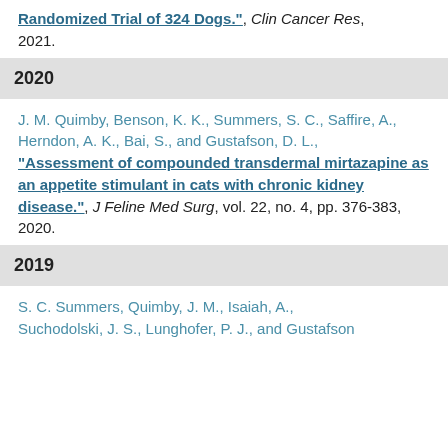Randomized Trial of 324 Dogs.", Clin Cancer Res, 2021.
2020
J. M. Quimby, Benson, K. K., Summers, S. C., Saffire, A., Herndon, A. K., Bai, S., and Gustafson, D. L., "Assessment of compounded transdermal mirtazapine as an appetite stimulant in cats with chronic kidney disease.", J Feline Med Surg, vol. 22, no. 4, pp. 376-383, 2020.
2019
S. C. Summers, Quimby, J. M., Isaiah, A., Suchodolski, J. S., Lunghofer, P. J., and Gustafson